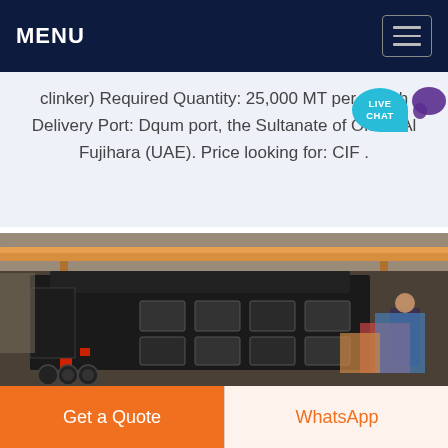MENU
clinker) Required Quantity: 25,000 MT per month Delivery Port: Dqum port, the Sultanate of Oman Al Fujihara (UAE). Price looking for: CIF .
[Figure (photo): Industrial machinery (heavy crusher or impact mill) inside a factory warehouse with overhead crane, large black metal machine with bolt panels and red mechanical components, worker visible in background]
Get a Quote
WhatsApp